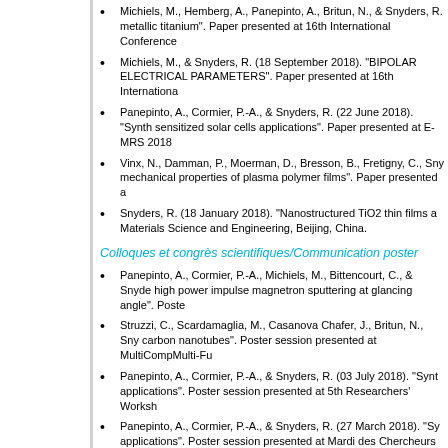Michiels, M., Hemberg, A., Panepinto, A., Britun, N., & Snyders, R. metallic titanium". Paper presented at 16th International Conference
Michiels, M., & Snyders, R. (18 September 2018). "BIPOLAR ELECTRICAL PARAMETERS". Paper presented at 16th International
Panepinto, A., Cormier, P.-A., & Snyders, R. (22 June 2018). "Synthesis sensitized solar cells applications". Paper presented at E-MRS 2018
Vinx, N., Damman, P., Moerman, D., Bresson, B., Fretigny, C., Snyders mechanical properties of plasma polymer films". Paper presented at
Snyders, R. (18 January 2018). "Nanostructured TiO2 thin films a Materials Science and Engineering, Beijing, China.
Colloques et congrès scientifiques/Communication poster
Panepinto, A., Cormier, P.-A., Michiels, M., Bittencourt, C., & Snyders high power impulse magnetron sputtering at glancing angle". Poster
Struzzi, C., Scardamaglia, M., Casanova Chafer, J., Britun, N., Snyders carbon nanotubes". Poster session presented at MultiCompMulti-Fu
Panepinto, A., Cormier, P.-A., & Snyders, R. (03 July 2018). "Synthesis applications". Poster session presented at 5th Researchers' Workshop
Panepinto, A., Cormier, P.-A., & Snyders, R. (27 March 2018). "Synthesis applications". Poster session presented at Mardi des Chercheurs (M
Vinx, N., Damman, P., Bresson, B., Fretigny, C., Snyders, R., & Th properties of plasma polymer films". Poster session presented at Ma
Vinx, N., Damman, P., Bresson, B., Fretigny, C., Snyders, R., & Thi properties of plasma polymer films". Poster session presented at In
Panepinto, A., Cormier, P.-A., & Snyders, R. (07 February 2018). cell applications". Poster session presented at International workshop